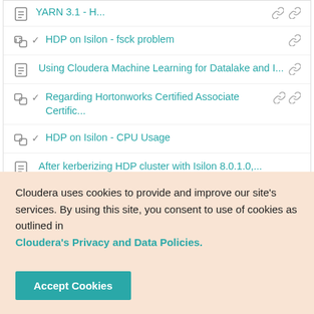YARN 3.1 - H...
HDP on Isilon - fsck problem
Using Cloudera Machine Learning for Datalake and I...
Regarding Hortonworks Certified Associate Certific...
HDP on Isilon - CPU Usage
After kerberizing HDP cluster with Isilon 8.0.1.0,...
Cloudera uses cookies to provide and improve our site's services. By using this site, you consent to use of cookies as outlined in Cloudera's Privacy and Data Policies.
Accept Cookies